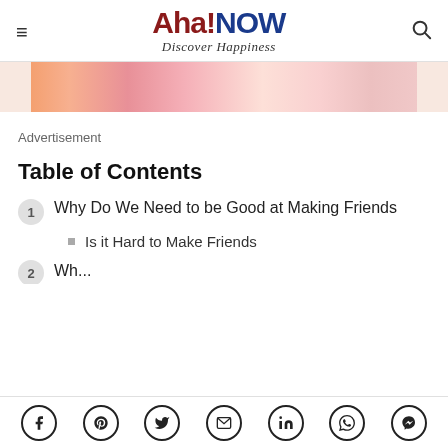Aha!NOW — Discover Happiness
[Figure (photo): Partial image of flowers/person, cropped at top]
Advertisement
Table of Contents
1. Why Do We Need to be Good at Making Friends
Is it Hard to Make Friends
2. [partially visible]
Social share icons: Facebook, Pinterest, Twitter, Email, LinkedIn, WhatsApp, Messenger